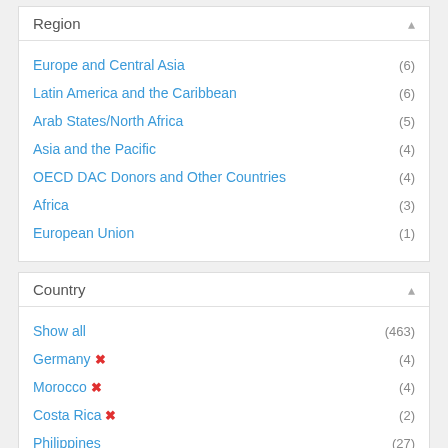Region
Europe and Central Asia (6)
Latin America and the Caribbean (6)
Arab States/North Africa (5)
Asia and the Pacific (4)
OECD DAC Donors and Other Countries (4)
Africa (3)
European Union (1)
Country
Show all (463)
Germany ✗ (4)
Morocco ✗ (4)
Costa Rica ✗ (2)
Philippines (27)
Mexico (21)